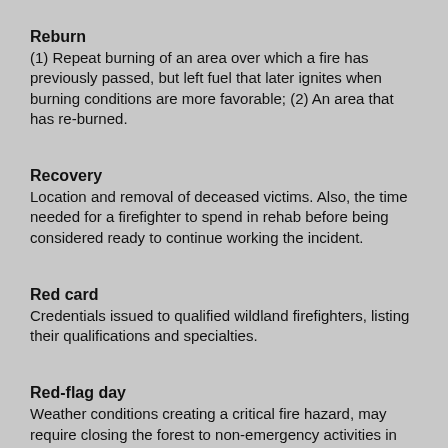Reburn
(1) Repeat burning of an area over which a fire has previously passed, but left fuel that later ignites when burning conditions are more favorable; (2) An area that has re-burned.
Recovery
Location and removal of deceased victims. Also, the time needed for a firefighter to spend in rehab before being considered ready to continue working the incident.
Red card
Credentials issued to qualified wildland firefighters, listing their qualifications and specialties.
Red-flag day
Weather conditions creating a critical fire hazard, may require closing the forest to non-emergency activities in order to minimize the risk of accidental wildland fires.